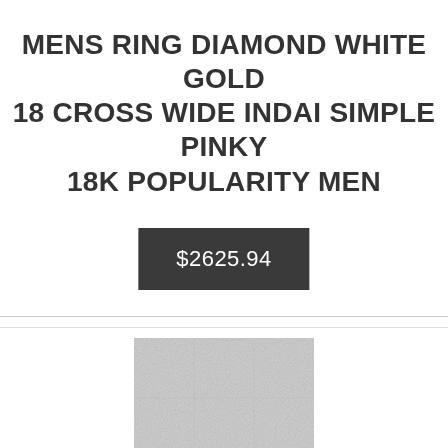MENS RING DIAMOND WHITE GOLD 18 CROSS WIDE INDAI SIMPLE PINKY 18K POPULARITY MEN
$2625.94
[Figure (photo): Product image placeholder showing a light gray/silver textured surface, likely representing the ring product.]